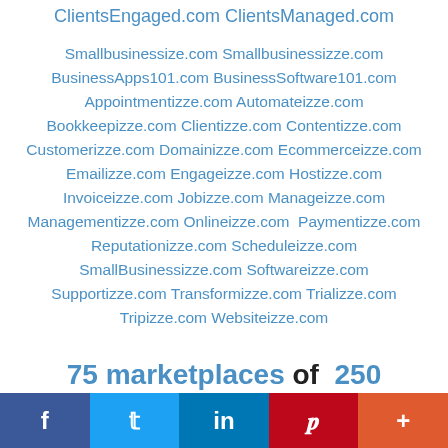ClientsEngaged.com ClientsManaged.com
Smallbusinessize.com Smallbusinessizze.com BusinessApps101.com BusinessSoftware101.com Appointmentizze.com Automateizze.com Bookkeepizze.com Clientizze.com Contentizze.com Customerizze.com Domainizze.com Ecommerceizze.com Emailizze.com Engageizze.com Hostizze.com Invoiceizze.com Jobizze.com Manageizze.com Managementizze.com Onlineizze.com Paymentizze.com Reputationizze.com Scheduleizze.com SmallBusinessizze.com Softwareizze.com Supportizze.com Transformizze.com Trializze.com Tripizze.com Websiteizze.com
75 marketplaces of 250 marketplaces launched. Many brands to be launched soon.